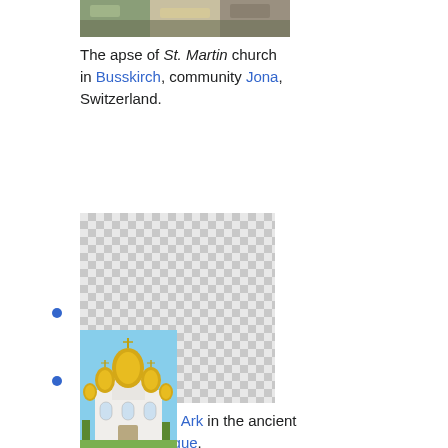[Figure (photo): Top portion of a photo showing the apse of St. Martin church in Busskirch, partially cropped]
The apse of St. Martin church in Busskirch, community Jona, Switzerland.
[Figure (photo): Checkerboard placeholder image for apse of Torah Ark in ancient Maon Synagogue]
Apse for Torah Ark in the ancient Maon Synagogue.
[Figure (photo): Photo of a white Russian Orthodox church with golden onion domes against a blue sky]